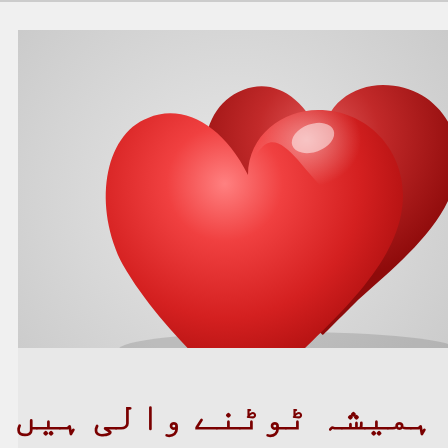[Figure (illustration): Two 3D glossy red heart shapes on a light grey background. The hearts are overlapping with the larger heart in front-left and a smaller/darker heart behind-right. Below the hearts is Urdu text in dark red color reading 'ہمیشہ ٹوٹنے والی ہیں' (roughly: always destined to break).]
ہمیشہ ٹوٹنے والی ہیں